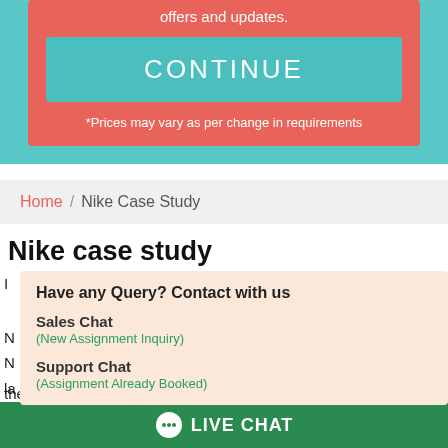offers and updates.
CONTINUE
*Prices may vary as per change in requirements
Home / Nike Case Study
Nike case study
Have any Query? Contact with us
Sales Chat
(New Assignment Inquiry)
Support Chat
(Assignment Already Booked)
the company has been conducted. Finally, recommendations
LIVE CHAT